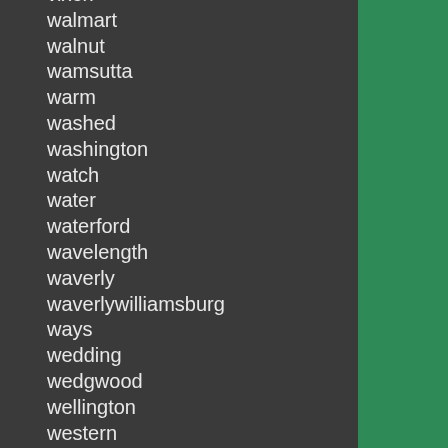vixen
walmart
walnut
wamsutta
warm
washed
washington
watch
water
waterford
wavelength
waverly
waverlywilliamsburg
ways
wedding
wedgwood
wellington
western
westpoint